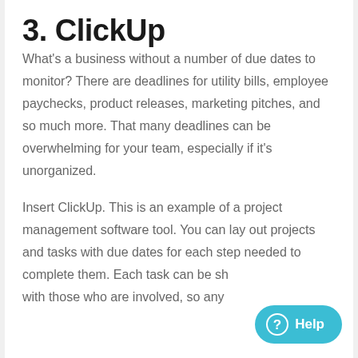3. ClickUp
What's a business without a number of due dates to monitor? There are deadlines for utility bills, employee paychecks, product releases, marketing pitches, and so much more. That many deadlines can be overwhelming for your team, especially if it's unorganized.
Insert ClickUp. This is an example of a project management software tool. You can lay out projects and tasks with due dates for each step needed to complete them. Each task can be shared with those who are involved, so any…